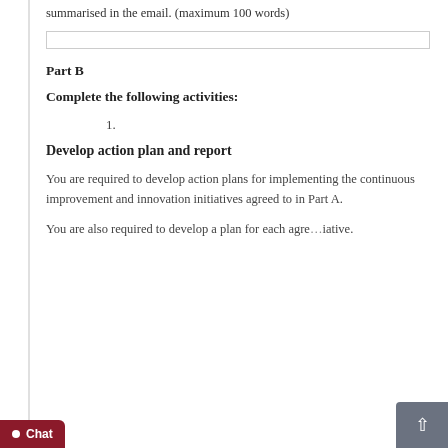summarised in the email. (maximum 100 words)
Part B
Complete the following activities:
1.
Develop action plan and report
You are required to develop action plans for implementing the continuous improvement and innovation initiatives agreed to in Part A.
You are also required to develop a plan for each agreed initiative.